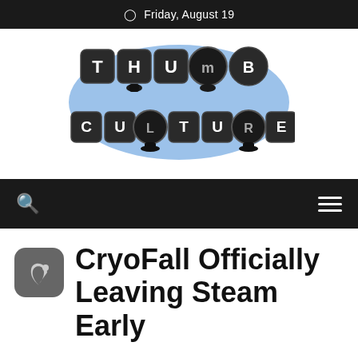Friday, August 19
[Figure (logo): Thumb Culture logo — keyboard-key styled letters spelling THUMB CULTURE with joystick/gamepad aesthetic, blue glow, dark grey keys on white background]
CryoFall Officially Leaving Steam Early